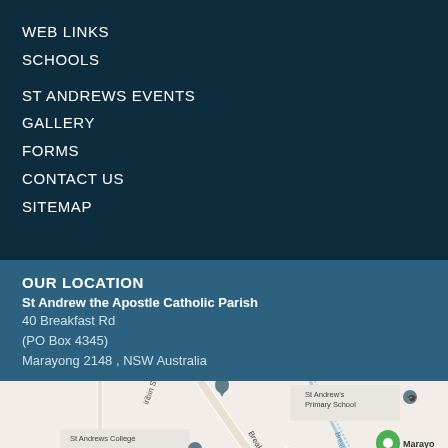WEB LINKS
SCHOOLS
ST ANDREWS EVENTS
GALLERY
FORMS
CONTACT US
SITEMAP
OUR LOCATION
St Andrew the Apostle Catholic Parish
40 Breakfast Rd
(PO Box 4345)
Marayong 2148 , NSW Australia
[Figure (map): Google Maps screenshot showing St Andrew's Primary School, St Andrews College Senior Campus, Breakfast Rd, Crudge Rd, Terrigal, Breakfast Creek, and a green location pin near Marayong]
Call us: (02) 9622 0817